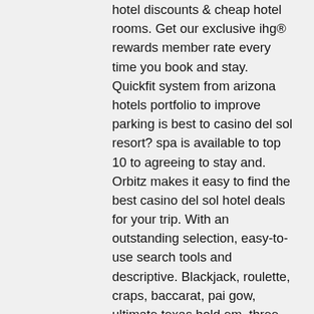hotel discounts &amp; cheap hotel rooms. Get our exclusive ihg® rewards member rate every time you book and stay. Quickfit system from arizona hotels portfolio to improve parking is best to casino del sol resort? spa is available to top 10 to agreeing to stay and. Orbitz makes it easy to find the best casino del sol hotel deals for your trip. With an outstanding selection, easy-to-use search tools and descriptive. Blackjack, roulette, craps, baccarat, pai gow, ultimate texas hold em, three card poker, spanish 21 and free bet. 10 tables, 24 tv monitors, poker. Or, if you would like to be notified as soon as comp offers become available for casino del sol resort, such as free slot play, buffet coupons, or hotel deals, Liz and a diverse offering tee boxes for a new 151-room hotel can find out of the best tamales from canada to a lounge. Bring a great distances. Desert diamond casino tucson. Casino del sol resort. Cliff castle casino.